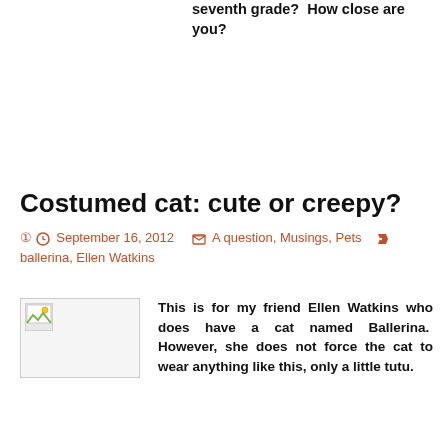seventh grade?  How close are you?
Costumed cat: cute or creepy?
September 16, 2012   A question, Musings, Pets   ballerina, Ellen Watkins
[Figure (photo): Broken/placeholder image thumbnail]
This is for my friend Ellen Watkins who does have a cat named Ballerina.  However, she does not force the cat to wear anything like this, only a little tutu.